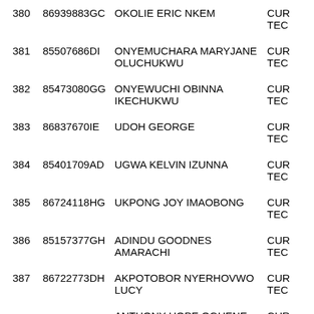| # | ID | Name | Status |
| --- | --- | --- | --- |
| 380 | 86939883GC | OKOLIE ERIC NKEM | CUR TEC |
| 381 | 85507686DI | ONYEMUCHARA MARYJANE OLUCHUKWU | CUR TEC |
| 382 | 85473080GG | ONYEWUCHI OBINNA IKECHUKWU | CUR TEC |
| 383 | 86837670IE | UDOH GEORGE | CUR TEC |
| 384 | 85401709AD | UGWA KELVIN IZUNNA | CUR TEC |
| 385 | 86724118HG | UKPONG JOY IMAOBONG | CUR TEC |
| 386 | 85157377GH | ADINDU GOODNES AMARACHI | CUR TEC |
| 387 | 86722773DH | AKPOTOBOR NYERHOVWO LUCY | CUR TEC |
| 388 |  | ANTHONY HOPE OGHENE | CUR |